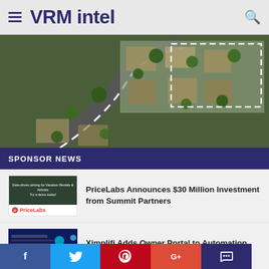VRM intel
[Figure (photo): Aerial view of a suburban neighborhood with roads, houses, and trees. A dashed white rectangle is overlaid on the right portion of the image.]
SPONSOR NEWS
[Figure (photo): PriceLabs thumbnail: dark green background with white text 'Data-driven pricing for Vacation Rentals & Airbnbs. Try a demo today!' and the PriceLabs logo below.]
PriceLabs Announces $30 Million Investment from Summit Partners
[Figure (screenshot): Ximplifi dark blue/teal interface screenshot thumbnail]
Ximplifi Adds Owner Portal to Automation Suite for Short Term Rental Accounting